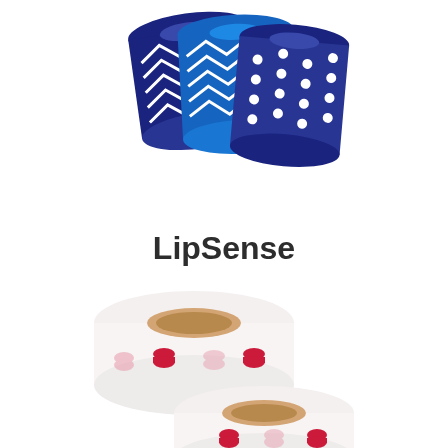[Figure (photo): Rolls of decorative blue washi tape with chevron and polka dot patterns]
LipSense
[Figure (photo): Two rolls of white washi tape with red lip print pattern]